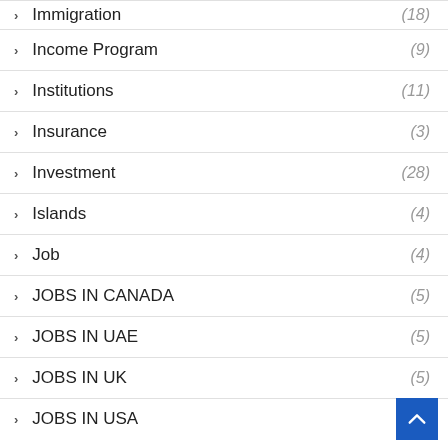Immigration (18)
Income Program (9)
Institutions (11)
Insurance (3)
Investment (28)
Islands (4)
Job (4)
JOBS IN CANADA (5)
JOBS IN UAE (5)
JOBS IN UK (5)
JOBS IN USA